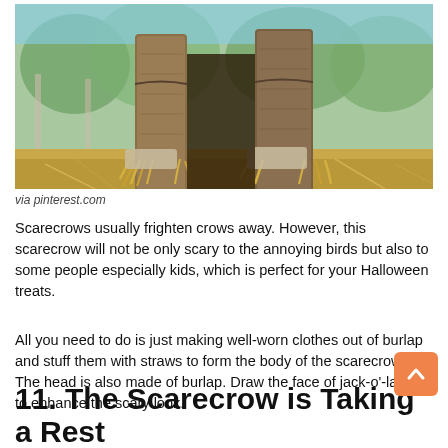[Figure (photo): Close-up photo of scarecrow legs/lower body made of burlap with straw sticking out at the ankles, standing in dry grass/hay field with blurred green trees and fence in background]
via pinterest.com
Scarecrows usually frighten crows away. However, this scarecrow will not be only scary to the annoying birds but also to some people especially kids, which is perfect for your Halloween treats.
All you need to do is just making well-worn clothes out of burlap and stuff them with straws to form the body of the scarecrow. The head is also made of burlap. Draw the face of jack-o'-lantern to enhance the scary look.
11. The Scarecrow is Taking a Rest